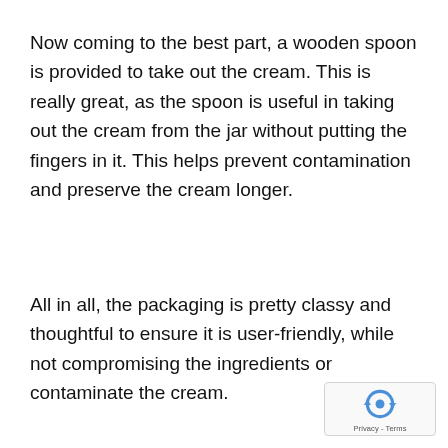Now coming to the best part, a wooden spoon is provided to take out the cream. This is really great, as the spoon is useful in taking out the cream from the jar without putting the fingers in it. This helps prevent contamination and preserve the cream longer.
All in all, the packaging is pretty classy and thoughtful to ensure it is user-friendly, while not compromising the ingredients or contaminate the cream.
[Figure (logo): reCAPTCHA badge with circular arrow icon and Privacy - Terms text]